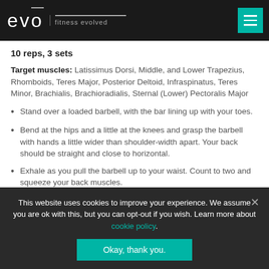evo fitness evolved
10 reps, 3 sets
Target muscles: Latissimus Dorsi, Middle, and Lower Trapezius, Rhomboids, Teres Major, Posterior Deltoid, Infraspinatus, Teres Minor, Brachialis, Brachioradialis, Sternal (Lower) Pectoralis Major
Stand over a loaded barbell, with the bar lining up with your toes.
Bend at the hips and a little at the knees and grasp the barbell with hands a little wider than shoulder-width apart. Your back should be straight and close to horizontal.
Exhale as you pull the barbell up to your waist. Count to two and squeeze your back muscles.
This website uses cookies to improve your experience. We assume you are ok with this, but you can opt-out if you wish. Learn more about cookie policy. Okay, thank you.